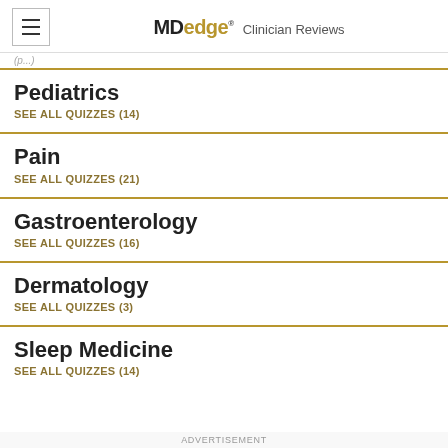MDedge Clinician Reviews
(partial/truncated text)
Pediatrics
SEE ALL QUIZZES (14)
Pain
SEE ALL QUIZZES (21)
Gastroenterology
SEE ALL QUIZZES (16)
Dermatology
SEE ALL QUIZZES (3)
Sleep Medicine
SEE ALL QUIZZES (14)
ADVERTISEMENT